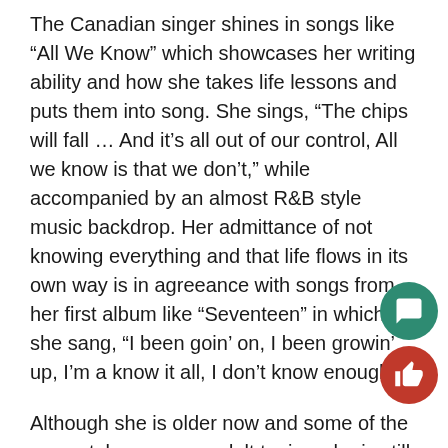The Canadian singer shines in songs like “All We Know” which showcases her writing ability and how she takes life lessons and puts them into song. She sings, “The chips will fall … And it’s all out of our control, All we know is that we don’t,” while accompanied by an almost R&B style music backdrop. Her admittance of not knowing everything and that life flows in its own way is in agreeance with songs from her first album like “Seventeen” in which she sang, “I been goin’ on, I been growin’ up, I’m a know it all, I don’t know enough.”
Although she is older now and some of the songs take on more adult topics, she is still the same Alessia the world fell in love with when her first album, Know-It-All, came out in 2015. Comparing her debut album to this newer,